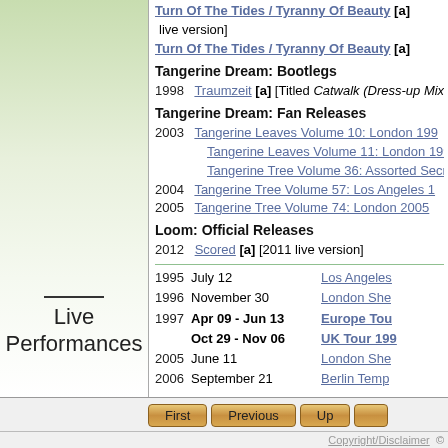Turn Of The Tides / Tyranny Of Beauty [a] live version]
Turn Of The Tides / Tyranny Of Beauty [a]
Tangerine Dream: Bootlegs
1998  Traumzeit [a] [Titled Catwalk (Dress-up Mix)
Tangerine Dream: Fan Releases
2003  Tangerine Leaves Volume 10: London 199
Tangerine Leaves Volume 11: London 199
Tangerine Tree Volume 36: Assorted Secr
2004  Tangerine Tree Volume 57: Los Angeles 1
2005  Tangerine Tree Volume 74: London 2005
Loom: Official Releases
2012  Scored [a] [2011 live version]
Live Performances
1995  July 12  Los Angeles
1996  November 30  London She
1997  Apr 09 - Jun 13  Europe Tou
Oct 29 - Nov 06  UK Tour 199
2005  June 11  London She
2006  September 21  Berlin Tempo
First  Previous  Up  Copyright/Disclaimer ©